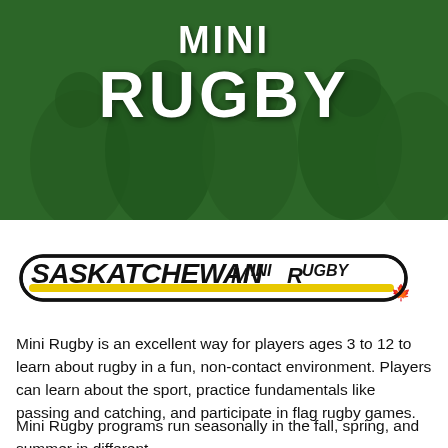MINI RUGBY
[Figure (logo): Saskatchewan Mini Rugby logo — stylized text in bold black with yellow/gold underline and a red maple leaf]
Mini Rugby is an excellent way for players ages 3 to 12 to learn about rugby in a fun, non-contact environment. Players can learn about the sport, practice fundamentals like passing and catching, and participate in flag rugby games.
Mini Rugby programs run seasonally in the fall, spring, and summer in different